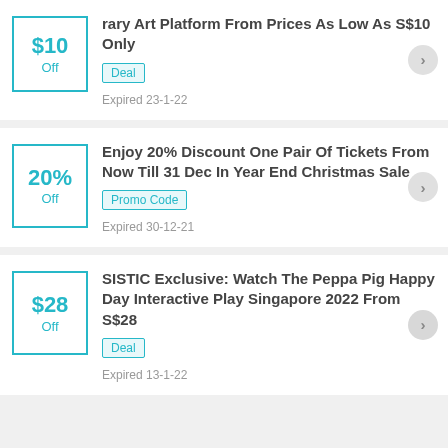$10 Off | rary Art Platform From Prices As Low As S$10 Only | Deal | Expired 23-1-22
20% Off | Enjoy 20% Discount One Pair Of Tickets From Now Till 31 Dec In Year End Christmas Sale | Promo Code | Expired 30-12-21
$28 Off | SISTIC Exclusive: Watch The Peppa Pig Happy Day Interactive Play Singapore 2022 From S$28 | Deal | Expired 13-1-22